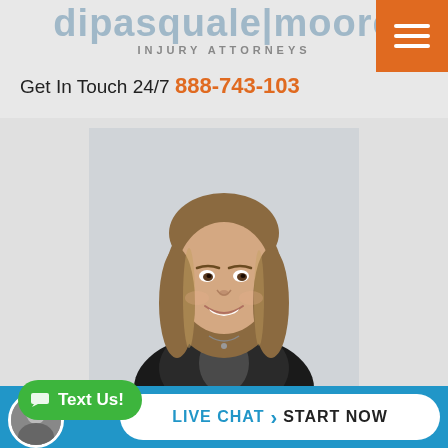dipasquale|moore
INJURY ATTORNEYS
Get In Touch 24/7  888-743-103
[Figure (photo): Professional headshot of a woman with long brown hair wearing a black blazer, smiling, against a light grey background]
Text Us!
LIVE CHAT  START NOW